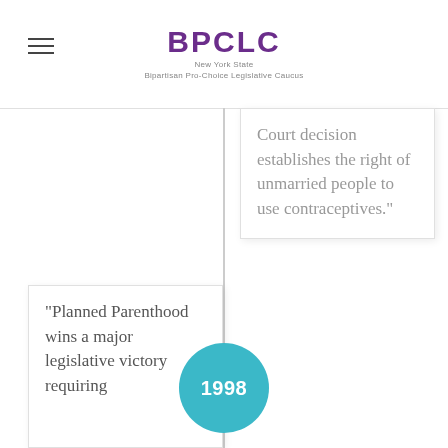BPCLC — New York State Bipartisan Pro-Choice Legislative Caucus
Court decision establishes the right of unmarried people to use contraceptives."
"Planned Parenthood wins a major legislative victory requiring
1998